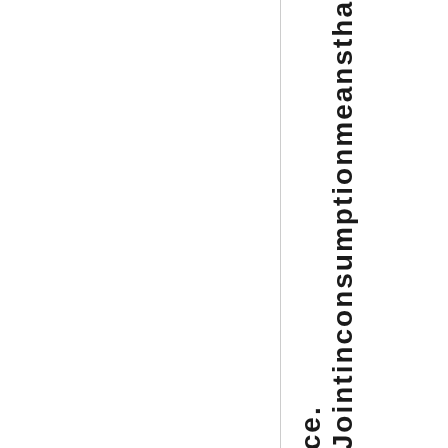ce. Joint inconsumption means tha